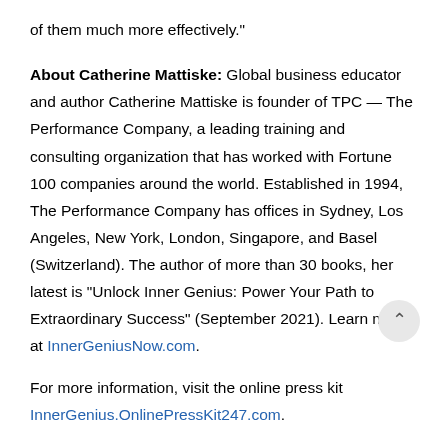of them much more effectively."
About Catherine Mattiske: Global business educator and author Catherine Mattiske is founder of TPC — The Performance Company, a leading training and consulting organization that has worked with Fortune 100 companies around the world. Established in 1994, The Performance Company has offices in Sydney, Los Angeles, New York, London, Singapore, and Basel (Switzerland). The author of more than 30 books, her latest is "Unlock Inner Genius: Power Your Path to Extraordinary Success" (September 2021). Learn more at InnerGeniusNow.com.
For more information, visit the online press kit InnerGenius.OnlinePressKit247.com.